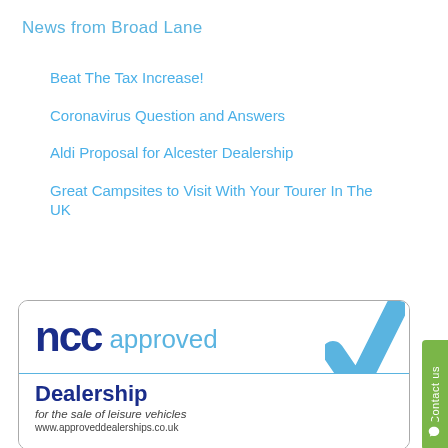News from Broad Lane
Beat The Tax Increase!
Coronavirus Question and Answers
Aldi Proposal for Alcester Dealership
Great Campsites to Visit With Your Tourer In The UK
[Figure (logo): NCC Approved Dealership logo with blue checkmark. Text reads: ncc approved Dealership for the sale of leisure vehicles www.approveddealerships.co.uk]